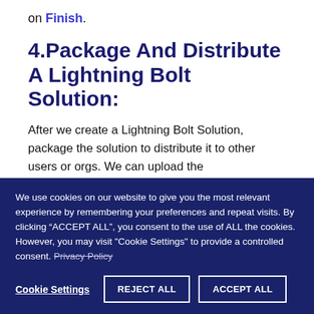on Finish.
4.Package And Distribute A Lightning Bolt Solution:
After we create a Lightning Bolt Solution, package the solution to distribute it to other users or orgs. We can upload the
We use cookies on our website to give you the most relevant experience by remembering your preferences and repeat visits. By clicking “ACCEPT ALL”, you consent to the use of ALL the cookies. However, you may visit "Cookie Settings" to provide a controlled consent. Privacy Policy
Cookie Settings   REJECT ALL   ACCEPT ALL